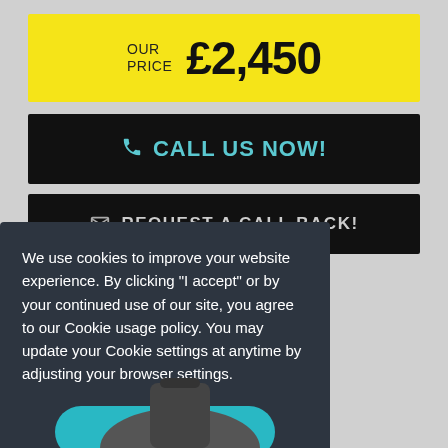OUR PRICE £2,450
CALL US NOW!
REQUEST A CALL BACK!
We use cookies to improve your website experience. By clicking "I accept" or by your continued use of our site, you agree to our Cookie usage policy. You may update your Cookie settings at anytime by adjusting your browser settings.
I accept